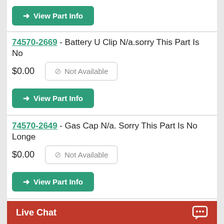View Part Info (button, top strip)
74570-2669 - Battery U Clip N/a.sorry This Part Is No
$0.00
Not Available
View Part Info
74570-2649 - Gas Cap N/a. Sorry This Part Is No Longe
$0.00
Not Available
View Part Info
74570-2129 - Spark Plug Wire Set N/a. Sorry Th Part
Live Chat